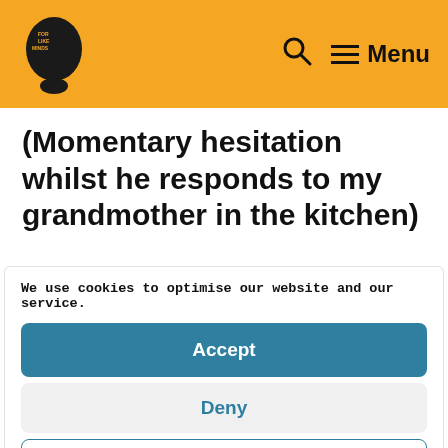For Like Minds — Menu
(Momentary hesitation whilst he responds to my grandmother in the kitchen)
We use cookies to optimise our website and our service.
Accept
Deny
Preferences
Cookie Policy